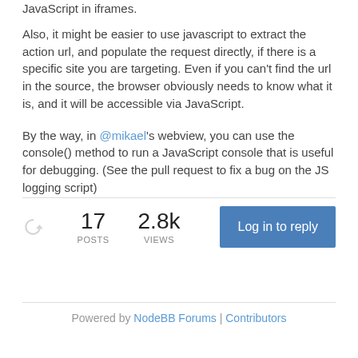JavaScript in iframes.
Also, it might be easier to use javascript to extract the action url, and populate the request directly, if there is a specific site you are targeting. Even if you can't find the url in the source, the browser obviously needs to know what it is, and it will be accessible via JavaScript.
By the way, in @mikael's webview, you can use the console() method to run a JavaScript console that is useful for debugging. (See the pull request to fix a bug on the JS logging script)
17 POSTS   2.8k VIEWS   Log in to reply
Powered by NodeBB Forums | Contributors